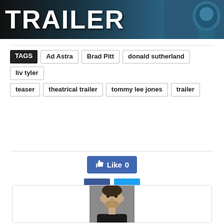[Figure (photo): Movie trailer banner with white text 'TRAILER' on dark background with astronaut silhouette on the right]
TAGS   Ad Astra   Brad Pitt   donald sutherland   liv tyler   teaser   theatrical trailer   tommy lee jones   trailer
[Figure (infographic): Facebook Like button showing 'Like 0', Facebook share icon (dark blue), Twitter share icon (light blue)]
[Figure (photo): Author headshot: man with short beard, dark hair, wearing black shirt, neutral gray background]